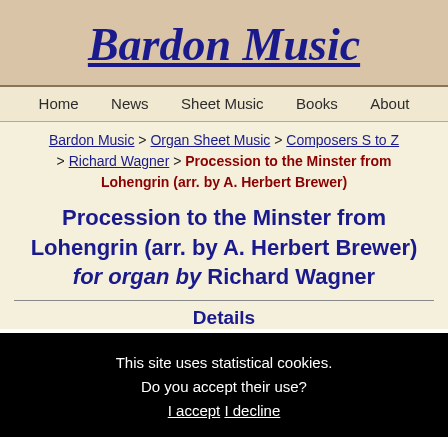Bardon Music
Home | News | Sheet Music | Books | About
Bardon Music > Organ Sheet Music > Composers S to Z > Richard Wagner > Procession to the Minster from Lohengrin (arr. by A. Herbert Brewer)
Procession to the Minster from Lohengrin (arr. by A. Herbert Brewer) for organ by Richard Wagner
Details
This site uses statistical cookies. Do you accept their use? I accept I decline